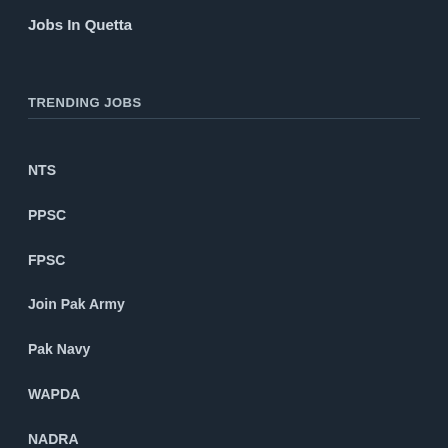Jobs In Quetta
TRENDING JOBS
NTS
PPSC
FPSC
Join Pak Army
Pak Navy
WAPDA
NADRA